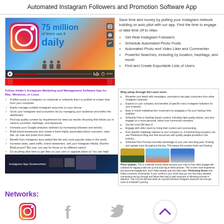Automated Instagram Followers and Promotion Software App
[Figure (infographic): 75 million of them use it daily - Instagram promotional infographic with video player]
Save time and money by putting your Instagram network building on auto pilot with our app. Find the time to engage or take time off to relax.
Get Real Instagram Followers
Schedule Automated Photo Posts
Automated Photo and Video Liker and Commenter
Powerful Searches, including by location, hashtags, and more!
Find and Create Exportable Lists of Users
Follow Adder's Instagram Marketing and Management Software App for Mac, Windows, or Linux
[Figure (screenshot): App screenshot strip showing Instagram App Screenshots on dark background]
[Figure (screenshot): Blog post style content box with bullet points and three landscape photos]
Networks:
[Figure (illustration): Instagram icon - purple rounded square with camera outline]
Instagram
[Figure (illustration): Facebook icon - grey F logo]
Facebook
[Figure (illustration): Twitter icon - grey bird logo]
Twitter
[Figure (illustration): Scroll up button with purple chevron]
YouTube
Free Version
Free Trial